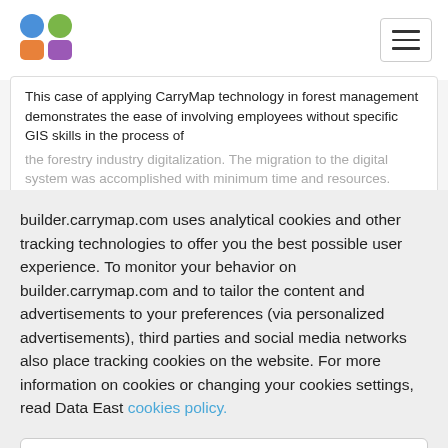[Figure (logo): CarryMap builder colorful logo with four colored circles/squares arranged in a grid pattern]
This case of applying CarryMap technology in forest management demonstrates the ease of involving employees without specific GIS skills in the process of the forestry industry digitalization. The migration to the digital system was accomplished with minimum time and resources.
builder.carrymap.com uses analytical cookies and other tracking technologies to offer you the best possible user experience. To monitor your behavior on builder.carrymap.com and to tailor the content and advertisements to your preferences (via personalized advertisements), third parties and social media networks also place tracking cookies on the website. For more information on cookies or changing your cookies settings, read Data East cookies policy.
Agree